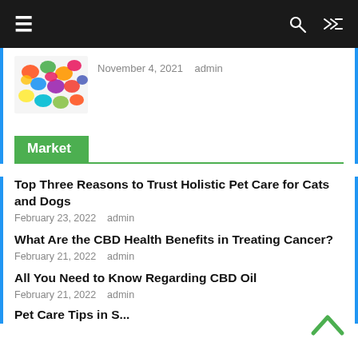Navigation bar with hamburger menu, search icon, and shuffle icon
[Figure (photo): Colorful gummy candy pieces thumbnail image]
November 4, 2021   admin
Market
Top Three Reasons to Trust Holistic Pet Care for Cats and Dogs
February 23, 2022   admin
What Are the CBD Health Benefits in Treating Cancer?
February 21, 2022   admin
All You Need to Know Regarding CBD Oil
February 21, 2022   admin